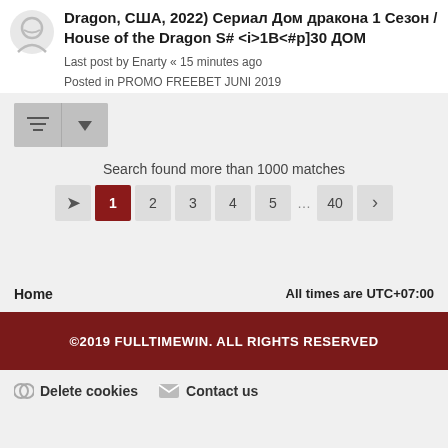Dragon, США, 2022) Сериал Дом дракона 1 Сезон / House of the Dragon S# <i>1B<#p]30 ДОМ
Last post by Enarty « 15 minutes ago
Posted in PROMO FREEBET JUNI 2019
[Figure (other): Sort/filter button bar with list icon and dropdown arrow]
Search found more than 1000 matches
Pagination: ➡ 1 2 3 4 5 … 40 >
Home    All times are UTC+07:00
©2019 FULLTIMEWIN. ALL RIGHTS RESERVED
Delete cookies   Contact us